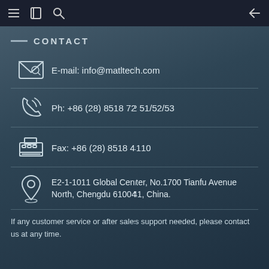Navigation bar with menu, bookmark, search, and back icons
CONTACT
E-mail: info@matltech.com
Ph: +86 (28) 8518 72 51/52/53
Fax: +86 (28) 8518 4110
E2-1-1011 Global Center, No.1700 Tianfu Avenue North, Chengdu 610041, China.
If any customer service or after sales support needed, please contact us at any time.